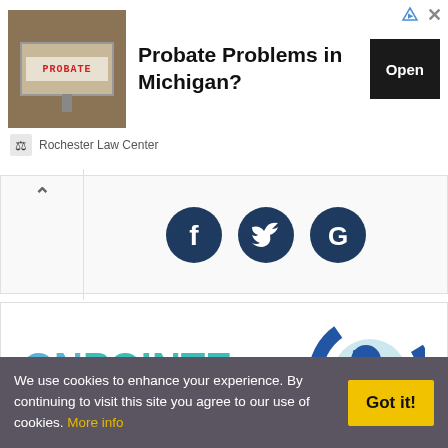[Figure (screenshot): Advertisement banner: image of a PROBATE rubber stamp on the left, bold text 'Probate Problems in Michigan?' in center, black 'Open' button on right, Rochester Law Center logo and name below, with small ad indicator icons top right]
[Figure (screenshot): Social media sharing section with collapse arrow button on left and three dark navy circular icons: Facebook (f), Twitter (bird), Google (G)]
[Figure (logo): OnPointe Dentistry logo: 'ONPOINTE' in large letters with ON in light blue and POINTE in teal, 'DENTISTRY' spaced below in gray, and a circular dental logo icon on the right in blue tones]
We use cookies to enhance your experience. By continuing to visit this site you agree to our use of cookies. More info